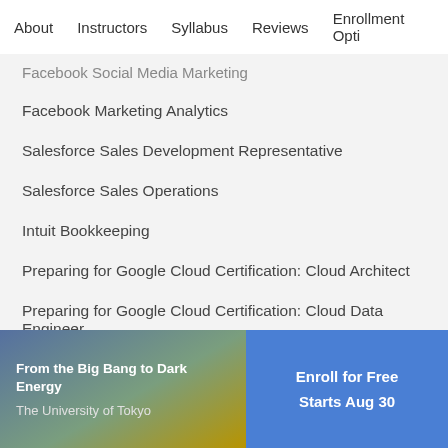About   Instructors   Syllabus   Reviews   Enrollment Opti
Facebook Social Media Marketing
Facebook Marketing Analytics
Salesforce Sales Development Representative
Salesforce Sales Operations
Intuit Bookkeeping
Preparing for Google Cloud Certification: Cloud Architect
Preparing for Google Cloud Certification: Cloud Data Engineer
Launch your career
Prepare for a certification
Advance your career
[Figure (infographic): Bottom banner with course info: 'From the Big Bang to Dark Energy' by The University of Tokyo, with 'Enroll for Free / Starts Aug 30' button]